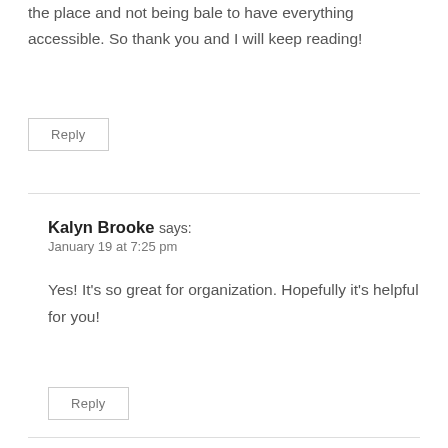the place and not being bale to have everything accessible. So thank you and I will keep reading!
Reply
Kalyn Brooke says:
January 19 at 7:25 pm
Yes! It's so great for organization. Hopefully it's helpful for you!
Reply